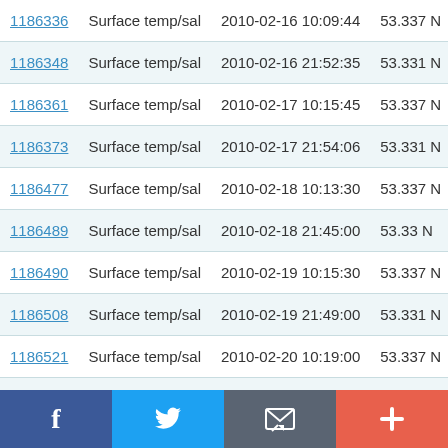| ID | Type | Datetime | Value |
| --- | --- | --- | --- |
| 1186336 | Surface temp/sal | 2010-02-16 10:09:44 | 53.337 N |
| 1186348 | Surface temp/sal | 2010-02-16 21:52:35 | 53.331 N |
| 1186361 | Surface temp/sal | 2010-02-17 10:15:45 | 53.337 N |
| 1186373 | Surface temp/sal | 2010-02-17 21:54:06 | 53.331 N |
| 1186477 | Surface temp/sal | 2010-02-18 10:13:30 | 53.337 N |
| 1186489 | Surface temp/sal | 2010-02-18 21:45:00 | 53.33 N |
| 1186490 | Surface temp/sal | 2010-02-19 10:15:30 | 53.337 N |
| 1186508 | Surface temp/sal | 2010-02-19 21:49:00 | 53.331 N |
| 1186521 | Surface temp/sal | 2010-02-20 10:19:00 | 53.337 N |
| 1186533 | Surface temp/sal | 2010-03-04 10:09:00 | 53.337 N |